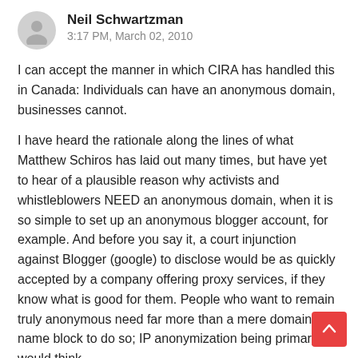Neil Schwartzman
3:17 PM, March 02, 2010
I can accept the manner in which CIRA has handled this in Canada: Individuals can have an anonymous domain, businesses cannot.
I have heard the rationale along the lines of what Matthew Schiros has laid out many times, but have yet to hear of a plausible reason why activists and whistleblowers NEED an anonymous domain, when it is so simple to set up an anonymous blogger account, for example. And before you say it, a court injunction against Blogger (google) to disclose would be as quickly accepted by a company offering proxy services, if they know what is good for them. People who want to remain truly anonymous need far more than a mere domain name block to do so; IP anonymization being primary, I would think.
The problem with anonymous domains, as Laura and A have more than adequately explained, is that they do